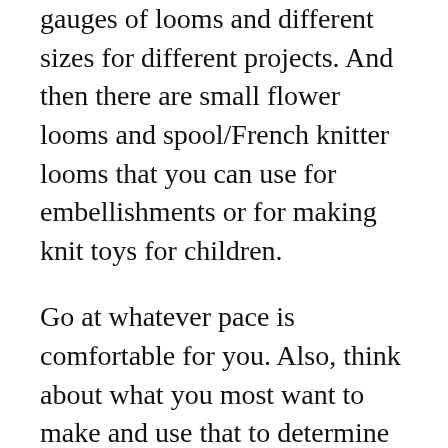gauges of looms and different sizes for different projects. And then there are small flower looms and spool/French knitter looms that you can use for embellishments or for making knit toys for children.
Go at whatever pace is comfortable for you. Also, think about what you most want to make and use that to determine whether you want one or two looms to get started or if you need multiple looms.
You can also opt for an adjustable loom that allows you to do a lot of different projects. The three that I can think of off the top of my head are the Knitting Board All-in-One, the